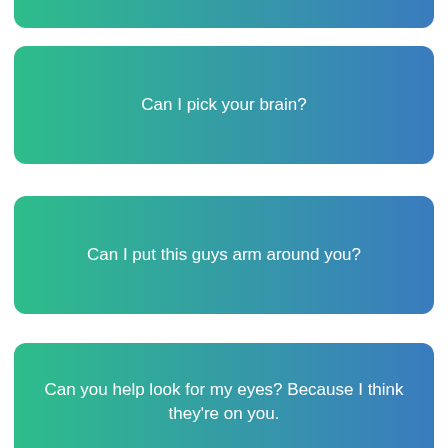(partial card - cut off at top)
Can I pick your brain?
Can I put this guys arm around you?
Can you help look for my eyes? Because I think they're on you.
(partial card - cut off at bottom)